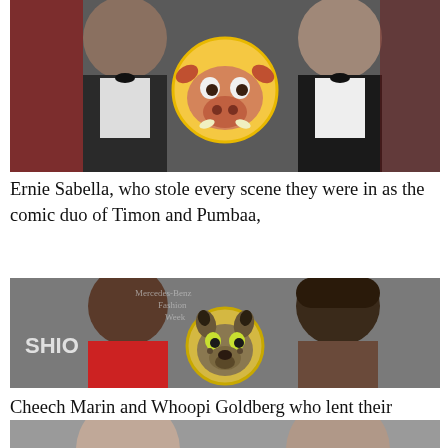[Figure (photo): Two men in tuxedos with a circular cartoon image of Pumbaa (warthog from The Lion King) overlaid between them]
Ernie Sabella, who stole every scene they were in as the comic duo of Timon and Pumbaa,
[Figure (photo): Two women smiling — one with shaved head in red outfit on left, one with dreadlocks on right — with a circular cartoon image of a hyena overlaid between them. Background text reads 'Mercedes-Benz Fashion Week']
Cheech Marin and Whoopi Goldberg who lent their comic talents to the hyenas, and
[Figure (photo): Two men partially visible at bottom of page, cropped]